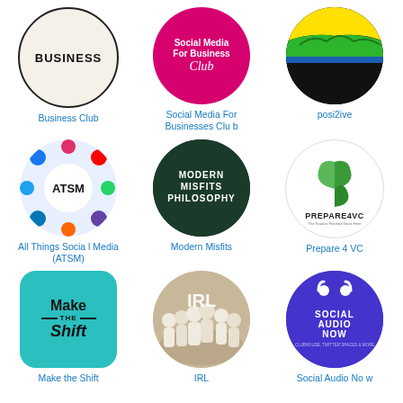[Figure (logo): Business Club logo: circular black-bordered logo on cream background with bold text BUSINESS]
Business Club
[Figure (logo): Social Media For Business Club logo: pink/magenta circle with white text]
Social Media For Businesses Club
[Figure (logo): posi2ive logo: dark circle with yellow and green landscape illustration]
posi2ive
[Figure (logo): All Things Social Media (ATSM) logo: colorful social media icons circle with white center showing ATSM]
All Things Social Media (ATSM)
[Figure (logo): Modern Misfits Philosophy logo: dark green circle with bold white text MODERN MISFITS PHILOSOPHY]
Modern Misfits
[Figure (logo): Prepare 4 VC logo: white circle with green leaf icon and PREPARE4VC text]
Prepare 4 VC
[Figure (logo): Make the Shift logo: teal rounded square with bold text Make THE Shift]
Make the Shift
[Figure (logo): IRL logo: circular photo of group of people in white clothing]
IRL
[Figure (logo): Social Audio Now logo: purple circle with white earbuds icon and SOCIAL AUDIO NOW text]
Social Audio Now